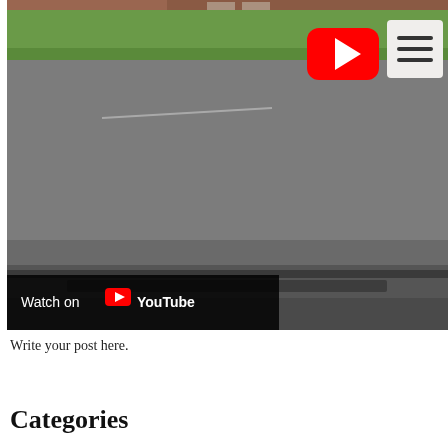[Figure (screenshot): YouTube video embed showing a street/road scene with a brick building, green grass, and road visible. YouTube play button logo and menu icon overlay are shown in the top right. A 'Watch on YouTube' bar appears at the bottom left of the video.]
Write your post here.
Categories